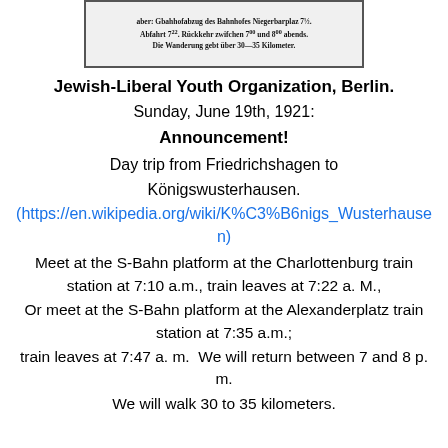[Figure (other): Clipping of a German-language newspaper announcement in blackletter/Fraktur font, bordered box, showing text about a day trip to Königswusterhausen with train times and walking distance.]
Jewish-Liberal Youth Organization, Berlin.
Sunday, June 19th, 1921:
Announcement!
Day trip from Friedrichshagen to Königswusterhausen.
(https://en.wikipedia.org/wiki/K%C3%B6nigs_Wusterhausen)
Meet at the S-Bahn platform at the Charlottenburg train station at 7:10 a.m., train leaves at 7:22 a. M.,
Or meet at the S-Bahn platform at the Alexanderplatz train station at 7:35 a.m.;
train leaves at 7:47 a. m.  We will return between 7 and 8 p. m.
We will walk 30 to 35 kilometers.